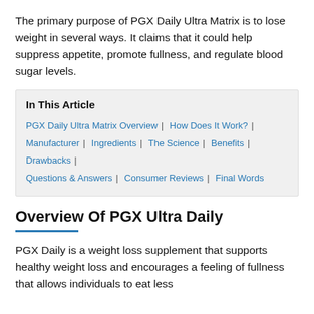The primary purpose of PGX Daily Ultra Matrix is to lose weight in several ways. It claims that it could help suppress appetite, promote fullness, and regulate blood sugar levels.
In This Article
PGX Daily Ultra Matrix Overview | How Does It Work? | Manufacturer | Ingredients | The Science | Benefits | Drawbacks | Questions & Answers | Consumer Reviews | Final Words
Overview Of PGX Ultra Daily
PGX Daily is a weight loss supplement that supports healthy weight loss and encourages a feeling of fullness that allows individuals to eat less